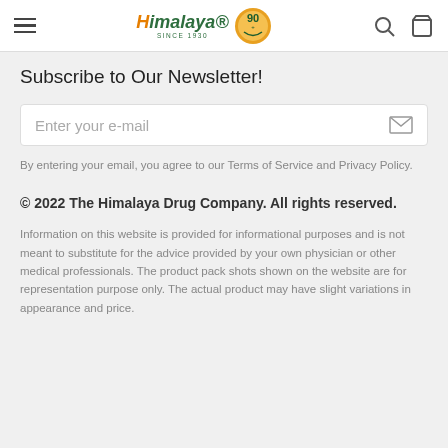Himalaya SINCE 1930 [logo] [90+ badge] [search icon] [bag icon]
Subscribe to Our Newsletter!
Enter your e-mail
By entering your email, you agree to our Terms of Service and Privacy Policy.
© 2022 The Himalaya Drug Company. All rights reserved.
Information on this website is provided for informational purposes and is not meant to substitute for the advice provided by your own physician or other medical professionals. The product pack shots shown on the website are for representation purpose only. The actual product may have slight variations in appearance and price.